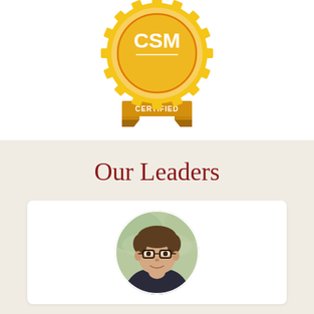[Figure (logo): CSM Certified badge — gold/yellow circular seal with 'CSM' in large white letters and 'CERTIFIED' on a banner ribbon]
Our Leaders
[Figure (photo): Circular portrait photo of a man wearing glasses and a dark blazer, smiling, with a blurred green outdoor background]